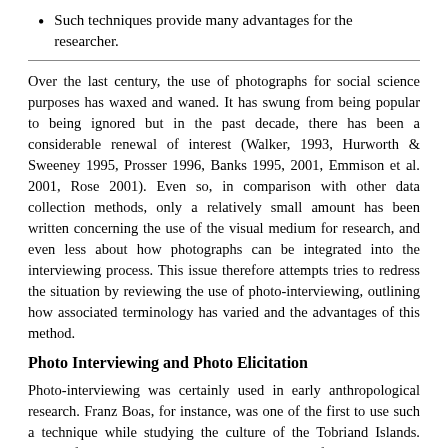Such techniques provide many advantages for the researcher.
Over the last century, the use of photographs for social science purposes has waxed and waned. It has swung from being popular to being ignored but in the past decade, there has been a considerable renewal of interest (Walker, 1993, Hurworth & Sweeney 1995, Prosser 1996, Banks 1995, 2001, Emmison et al. 2001, Rose 2001). Even so, in comparison with other data collection methods, only a relatively small amount has been written concerning the use of the visual medium for research, and even less about how photographs can be integrated into the interviewing process. This issue therefore attempts tries to redress the situation by reviewing the use of photo-interviewing, outlining how associated terminology has varied and the advantages of this method.
Photo Interviewing and Photo Elicitation
Photo-interviewing was certainly used in early anthropological research. Franz Boas, for instance, was one of the first to use such a technique while studying the culture of the Tobriand Islands. During fieldwork he would show photos to key informants in order to get them to talk about specific rituals.